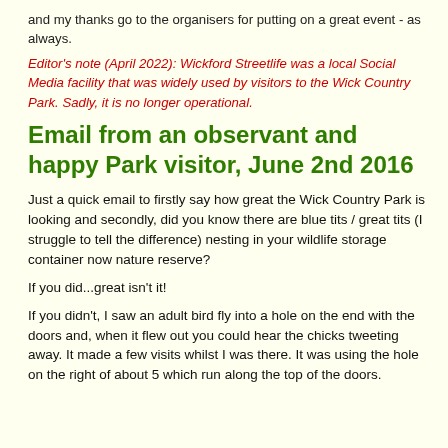and my thanks go to the organisers for putting on a great event - as always.
Editor's note (April 2022): Wickford Streetlife was a local Social Media facility that was widely used by visitors to the Wick Country Park. Sadly, it is no longer operational.
Email from an observant and happy Park visitor, June 2nd 2016
Just a quick email to firstly say how great the Wick Country Park is looking and secondly, did you know there are blue tits / great tits (I struggle to tell the difference) nesting in your wildlife storage container now nature reserve?
If you did...great isn't it!
If you didn't, I saw an adult bird fly into a hole on the end with the doors and, when it flew out you could hear the chicks tweeting away. It made a few visits whilst I was there. It was using the hole on the right of about 5 which run along the top of the doors.